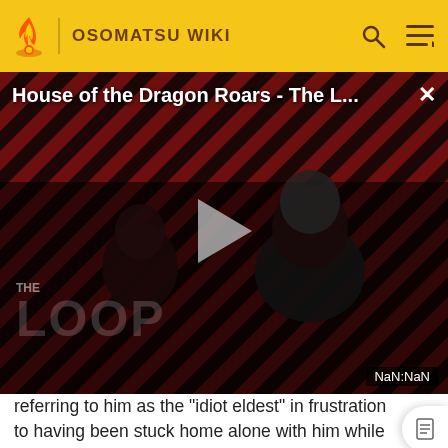OSOMATSU WIKI
[Figure (screenshot): Video player showing 'House of the Dragon Roars - The L...' with a dark diagonal striped red/black background, two figures visible, a play button triangle in the center, 'THE LOOP' text watermark, and a NaN:NaN time display in the bottom right corner.]
referring to him as the "idiot eldest" in frustration to having been stuck home alone with him while their parents are on vacation. When the two see Iyami eating the garbage in their house, they also tell each other to "not be like that". Karamatsu also attempts to sabotage Osomatsu in "Chibita's Revenge" while everyone else has